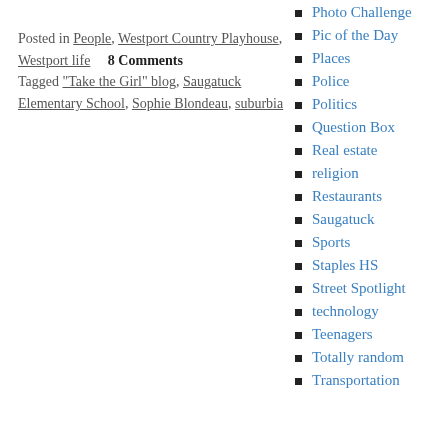Posted in People, Westport Country Playhouse, Westport life   8 Comments
Tagged "Take the Girl" blog, Saugatuck Elementary School, Sophie Blondeau, suburbia
Photo Challenge
Pic of the Day
Places
Police
Politics
Question Box
Real estate
religion
Restaurants
Saugatuck
Sports
Staples HS
Street Spotlight
technology
Teenagers
Totally random
Transportation